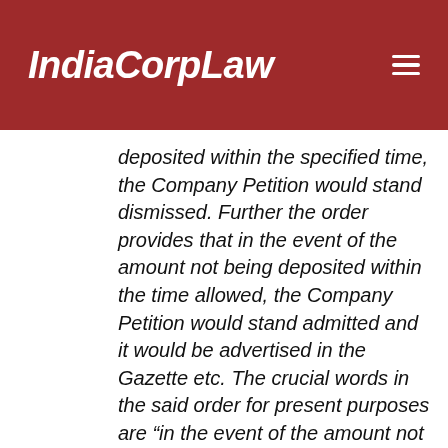IndiaCorpLaw
deposited within the specified time, the Company Petition would stand dismissed. Further the order provides that in the event of the amount not being deposited within the time allowed, the Company Petition would stand admitted and it would be advertised in the Gazette etc. The crucial words in the said order for present purposes are “in the event of the amount not being deposited the Official Liquidator will also stand appointed as Provisional Liquidator”. The Company Court also